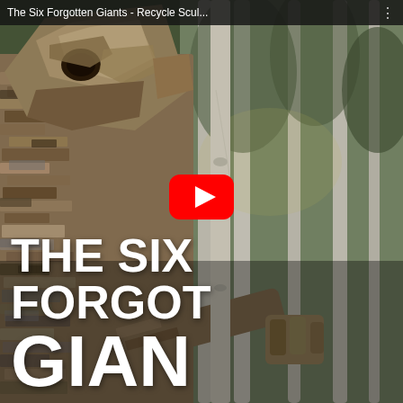The Six Forgotten Giants - Recycle Scul...
[Figure (screenshot): YouTube video thumbnail showing a large sculpture of a giant figure made from recycled wooden planks, standing in a forest. The giant has a geometric wooden head and body made of layered wood scraps, hugging or leaning against a birch tree. A red YouTube play button is centered on the image.]
THE SIX FORGOT GIAN